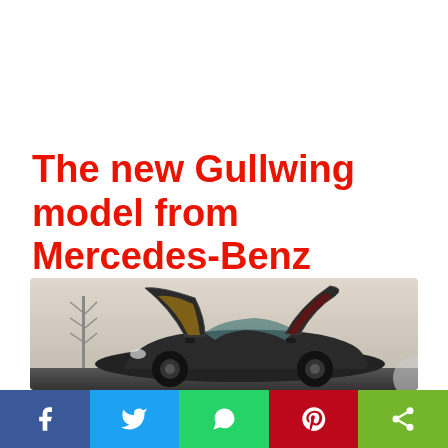The new Gullwing model from Mercedes-Benz
[Figure (photo): Mercedes-Benz SLS AMG Gullwing sports car with both gullwing doors open, viewed from the front-left, parked on a road with a communication tower in the background, against a light sky.]
[Figure (infographic): Social sharing bar with five colored buttons: Facebook (blue), Twitter (light blue), WhatsApp (green), Pinterest (red), and Share (lime green), each with their respective icons in white.]